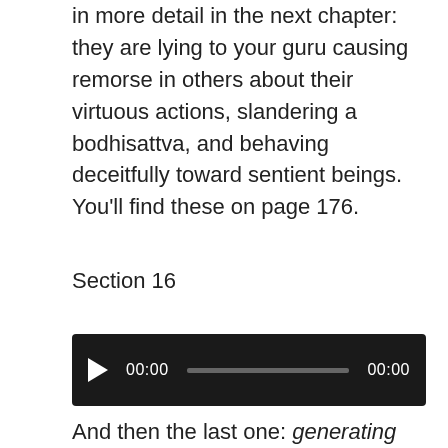in more detail in the next chapter: they are lying to your guru causing remorse in others about their virtuous actions, slandering a bodhisattva, and behaving deceitfully toward sentient beings. You'll find these on page 176.
Section 16
[Figure (other): Audio player widget with black background, play button, timestamp 00:00, progress bar, and end timestamp 00:00]
And then the last one: generating the opposite